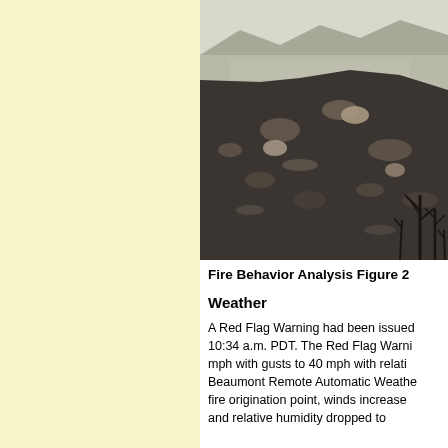[Figure (photo): Aerial or elevated view of a hillside burned by fire, showing charred vegetation and bare rocky terrain with a valley and hazy mountains in the background.]
Fire Behavior Analysis Figure 2
Weather
A Red Flag Warning had been issued 10:34 a.m. PDT. The Red Flag Warning mph with gusts to 40 mph with relati Beaumont Remote Automatic Weathe fire origination point, winds increase and relative humidity dropped to